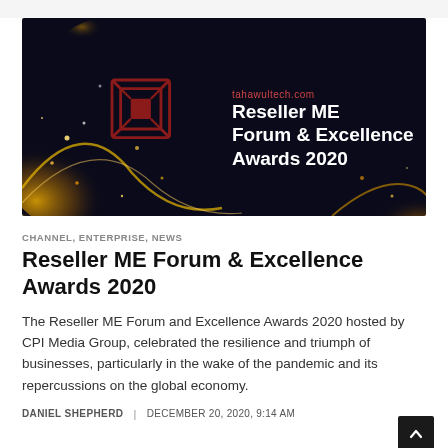[Figure (photo): Dark event banner for Reseller ME Forum & Excellence Awards 2020, with gold glitter/sparkle effect background, a dark red geometric logo on the left, and white text reading 'tahawultech.com Reseller ME Forum & Excellence Awards 2020' on the right.]
CHANNEL, ENTERPRISE, NEWS
Reseller ME Forum & Excellence Awards 2020
The Reseller ME Forum and Excellence Awards 2020 hosted by CPI Media Group, celebrated the resilience and triumph of businesses, particularly in the wake of the pandemic and its repercussions on the global economy.
DANIEL SHEPHERD | DECEMBER 20, 2020, 9:14 AM